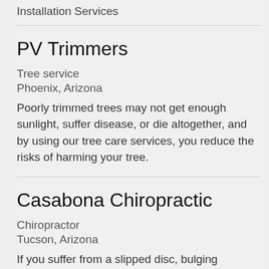Installation Services
PV Trimmers
Tree service
Phoenix, Arizona
Poorly trimmed trees may not get enough sunlight, suffer disease, or die altogether, and by using our tree care services, you reduce the risks of harming your tree.
Casabona Chiropractic
Chiropractor
Tucson, Arizona
If you suffer from a slipped disc, bulging